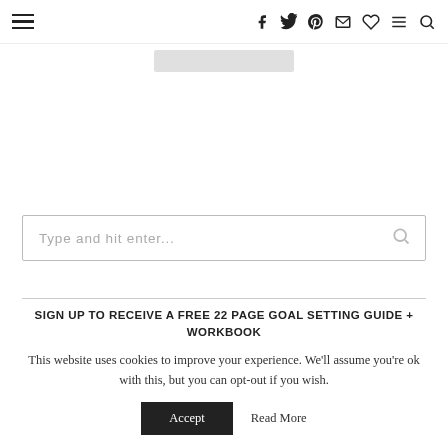Navigation header with hamburger menu, social icons (facebook, twitter, pinterest, email, heart, menu, search)
[Figure (other): Gray rectangular image placeholder near top center]
[Figure (other): Search input box with placeholder text 'Type and hit enter...' and a search icon on the right]
SIGN UP TO RECEIVE A FREE 22 PAGE GOAL SETTING GUIDE + WORKBOOK
This website uses cookies to improve your experience. We'll assume you're ok with this, but you can opt-out if you wish.
Accept   Read More